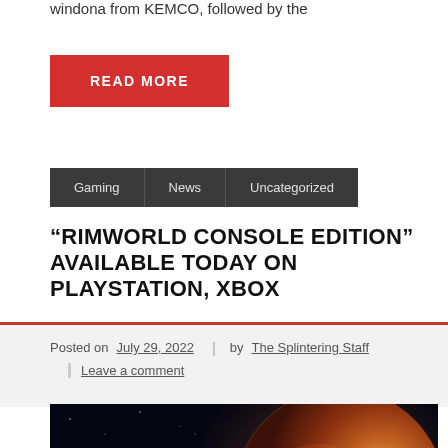windona from KEMCO, followed by the
READ MORE
Gaming
News
Uncategorized
"RIMWORLD CONSOLE EDITION" AVAILABLE TODAY ON PLAYSTATION, XBOX
Posted on July 29, 2022 | by The Splintering Staff | Leave a comment
[Figure (photo): Space scene showing a spacecraft near a large red/orange planet against a dark starfield background]